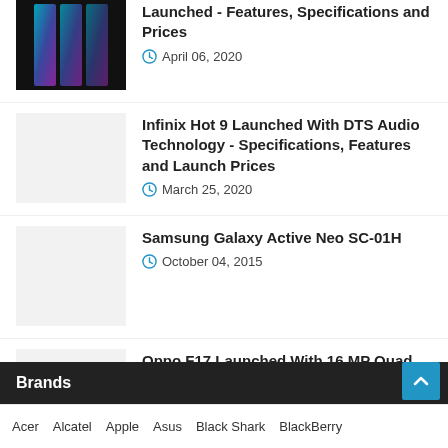Launched - Features, Specifications and Prices
April 06, 2020
Infinix Hot 9 Launched With DTS Audio Technology - Specifications, Features and Launch Prices
March 25, 2020
Samsung Galaxy Active Neo SC-01H
October 04, 2015
Oppo F17 Launched With 16 MP Quad Rear Cameras - Features, Prices
September 13, 2020
Brands
Acer   Alcatel   Apple   Asus   Black Shark   BlackBerry